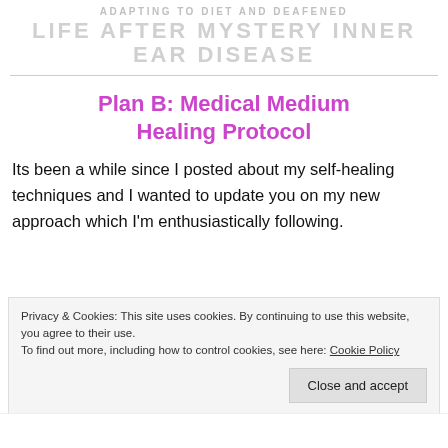ADAPTING TO DIET AND DEAFENED
LIFE AFTER MYSTERY INNER EAR DISEASE
Plan B: Medical Medium Healing Protocol
Its been a while since I posted about my self-healing techniques and I wanted to update you on my new approach which I'm enthusiastically following.
Privacy & Cookies: This site uses cookies. By continuing to use this website, you agree to their use.
To find out more, including how to control cookies, see here: Cookie Policy
Close and accept